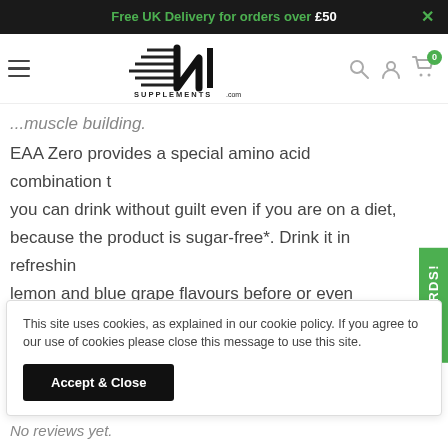Free UK Delivery for orders over £50
[Figure (logo): NI Supplements logo with stylized NI letters and 'SUPPLEMENTS .com' text]
...muscle building.
EAA Zero provides a special amino acid combination that you can drink without guilt even if you are on a diet, because the product is sugar-free*. Drink it in refreshing lemon and blue grape flavours before or even during an exhaustive workout session.
REWARDS!
This site uses cookies, as explained in our cookie policy. If you agree to our use of cookies please close this message to use this site.
Accept & Close
No reviews yet.